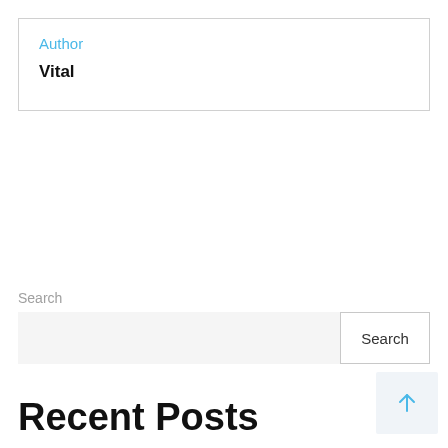Author
Vital
Search
Search
Recent Posts